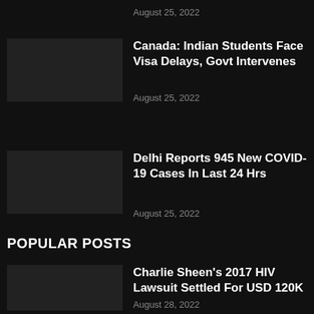August 25, 2022
Canada: Indian Students Face Visa Delays, Govt Intervenes
August 25, 2022
Delhi Reports 945 New COVID-19 Cases In Last 24 Hrs
August 25, 2022
POPULAR POSTS
Charlie Sheen's 2017 HIV Lawsuit Settled For USD 120K
August 28, 2022